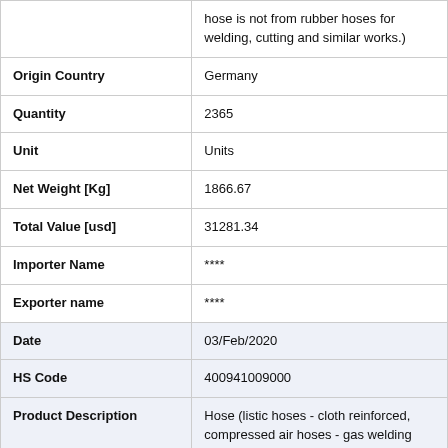| Field | Value |
| --- | --- |
|  | hose is not from rubber hoses for welding, cutting and similar works.) |
| Origin Country | Germany |
| Quantity | 2365 |
| Unit | Units |
| Net Weight [Kg] | 1866.67 |
| Total Value [usd] | 31281.34 |
| Importer Name | **** |
| Exporter name | **** |
| Date | 03/Feb/2020 |
| HS Code | 400941009000 |
| Product Description | Hose (listic hoses - cloth reinforced, compressed air hoses - gas welding equipment - not from rubber hoses for |